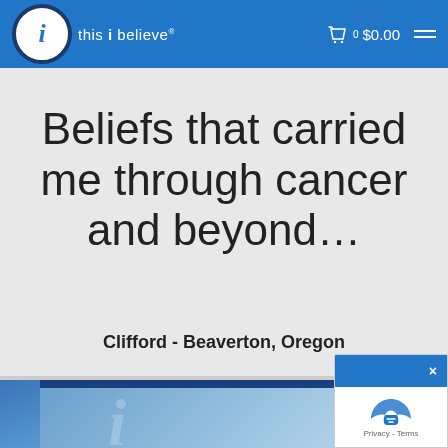this i believe
Beliefs that carried me through cancer and beyond…
Clifford - Beaverton, Oregon
[Figure (screenshot): Bottom portion showing a blue book/product image with 'this i believe' logo watermark, and a reCAPTCHA widget overlay in the bottom-right with an X close button and 'Privacy - Terms' text.]